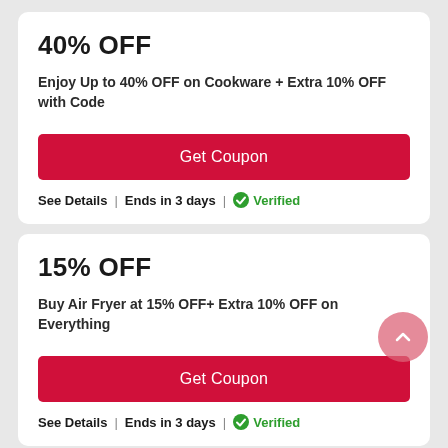40% OFF
Enjoy Up to 40% OFF on Cookware + Extra 10% OFF with Code
Get Coupon
See Details | Ends in 3 days | Verified
15% OFF
Buy Air Fryer at 15% OFF+ Extra 10% OFF on Everything
Get Coupon
See Details | Ends in 3 days | Verified